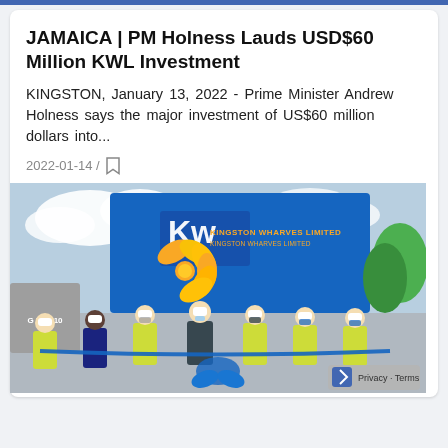JAMAICA | PM Holness Lauds USD$60 Million KWL Investment
KINGSTON, January 13, 2022 - Prime Minister Andrew Holness says the major investment of US$60 million dollars into...
2022-01-14 /
[Figure (photo): Group of people in yellow safety vests and white hard masks, cutting a ribbon (blue) at a Kingston Wharves Limited facility, with a large yellow bow in the center and a blue KWL-branded building in the background.]